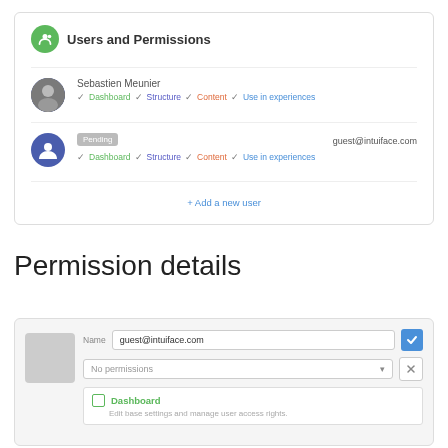[Figure (screenshot): Users and Permissions card showing two users: Sebastien Meunier with Dashboard/Structure/Content/Use in experiences permissions, and a pending user (guest@intuiface.com) with same permissions, plus an Add a new user link.]
Permission details
[Figure (screenshot): Permission details form showing guest@intuiface.com name field, No permissions dropdown, and Dashboard option with description: Edit base settings and manage user access rights.]